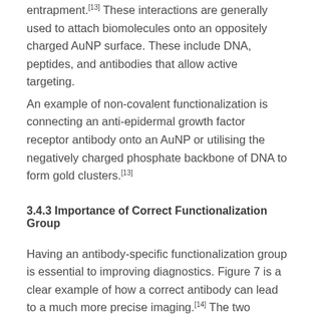entrapment.[13] These interactions are generally used to attach biomolecules onto an oppositely charged AuNP surface. These include DNA, peptides, and antibodies that allow active targeting.
An example of non-covalent functionalization is connecting an anti-epidermal growth factor receptor antibody onto an AuNP or utilising the negatively charged phosphate backbone of DNA to form gold clusters.[13]
3.4.3 Importance of Correct Functionalization Group
Having an antibody-specific functionalization group is essential to improving diagnostics. Figure 7 is a clear example of how a correct antibody can lead to a much more precise imaging.[14] The two images on the left are those after AuNRs functionalized with non-A9 antigen-specific